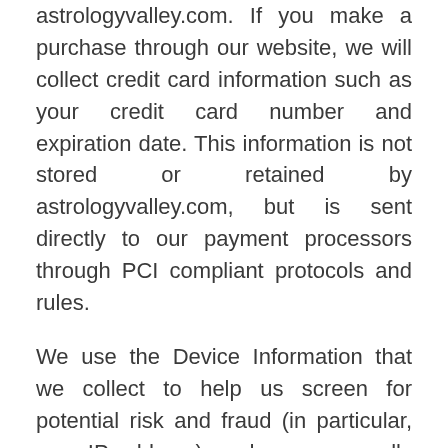astrologyvalley.com. If you make a purchase through our website, we will collect credit card information such as your credit card number and expiration date. This information is not stored or retained by astrologyvalley.com, but is sent directly to our payment processors through PCI compliant protocols and rules.
We use the Device Information that we collect to help us screen for potential risk and fraud (in particular, your IP address), and more generally to improve and optimize our Site (for example, by generating analytics about how our customers browse and interact with the Site, and to assess the success of our marketing and advertising campaigns).